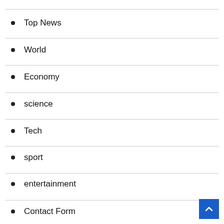Top News
World
Economy
science
Tech
sport
entertainment
Contact Form